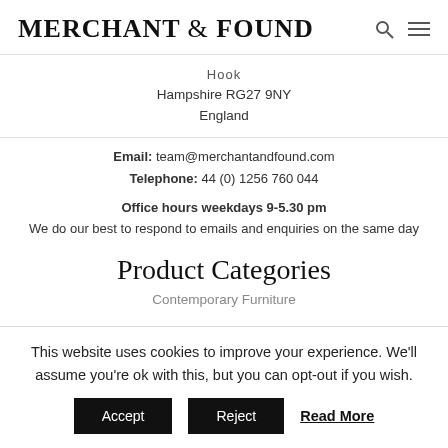MERCHANT & FOUND
Hook
Hampshire RG27 9NY
England
Email: team@merchantandfound.com
Telephone: 44 (0) 1256 760 044
Office hours weekdays 9-5.30 pm
We do our best to respond to emails and enquiries on the same day
Product Categories
Contemporary Furniture
This website uses cookies to improve your experience. We'll assume you're ok with this, but you can opt-out if you wish.